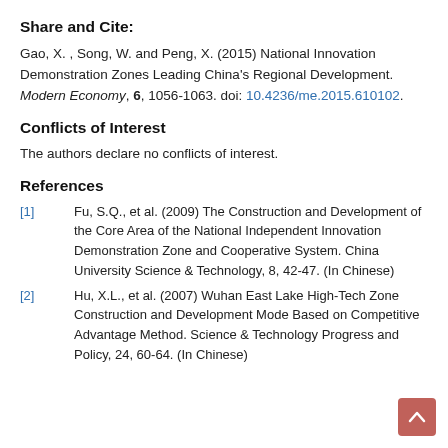Share and Cite:
Gao, X. , Song, W. and Peng, X. (2015) National Innovation Demonstration Zones Leading China's Regional Development. Modern Economy, 6, 1056-1063. doi: 10.4236/me.2015.610102.
Conflicts of Interest
The authors declare no conflicts of interest.
References
[1]   Fu, S.Q., et al. (2009) The Construction and Development of the Core Area of the National Independent Innovation Demonstration Zone and Cooperative System. China University Science & Technology, 8, 42-47. (In Chinese)
[2]   Hu, X.L., et al. (2007) Wuhan East Lake High-Tech Zone Construction and Development Mode Based on Competitive Advantage Method. Science & Technology Progress and Policy, 24, 60-64. (In Chinese)